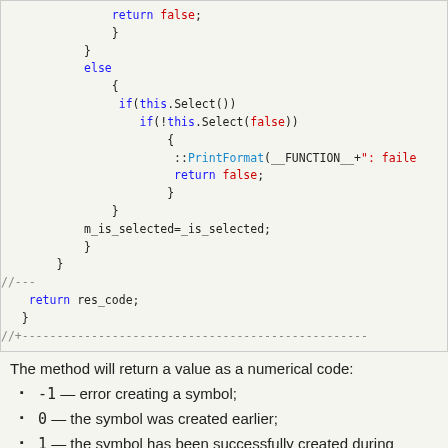[Figure (screenshot): Code block showing C++ source code with syntax highlighting. Contains return false statements, else block with if(this.Select()) and if(!this.Select(false)) conditions, ::PrintFormat(__FUNCTION__+": faile"), return false, m_is_selected=_is_selected, closing braces, //--- comment, return res_code, closing brace, and //+--- dashed line.]
The method will return a value as a numerical code:
-1 — error creating a symbol;
0  — the symbol was created earlier;
1  — the symbol has been successfully created during current method call.
Here are a few words about the _batch_size